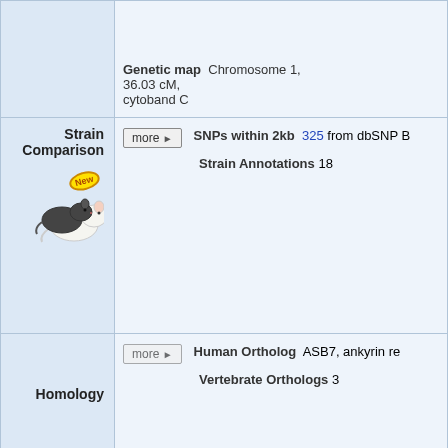Genetic map  Chromosome 1, 36.03 cM, cytoband C
Strain Comparison
SNPs within 2kb  325 from dbSNP B...
Strain Annotations  18
Homology
Human Ortholog  ASB7, ankyrin re...
Vertebrate Orthologs  3
Mutations, Alleles, and Phenotypes
Phenotype Summary  20 phenotypes fr... 13 phenotype re...
[Figure (bar-chart): Phenotype overview bar chart with rotated x-axis labels for categories: adipose tissue, behavior/neurological, cardiovascular system, cellular, craniofacial, digestive/alimentary system, embryo, endocrine/exocrine glands, growth/size/body, hearing/vestibular/ear, hematopoietic system, homeostasis/metabolism, immune system, intestine...]